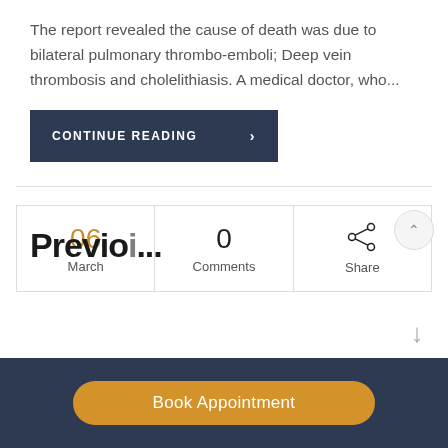The report revealed the cause of death was due to bilateral pulmonary thrombo-emboli; Deep vein thrombosis and cholelithiasis. A medical doctor, who...
CONTINUE READING
06 March  0 Comments  Share
Book Appointment